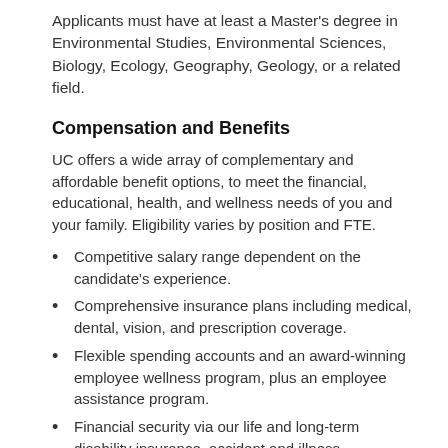Applicants must have at least a Master's degree in Environmental Studies, Environmental Sciences, Biology, Ecology, Geography, Geology, or a related field.
Compensation and Benefits
UC offers a wide array of complementary and affordable benefit options, to meet the financial, educational, health, and wellness needs of you and your family. Eligibility varies by position and FTE.
Competitive salary range dependent on the candidate's experience.
Comprehensive insurance plans including medical, dental, vision, and prescription coverage.
Flexible spending accounts and an award-winning employee wellness program, plus an employee assistance program.
Financial security via our life and long-term disability insurance, accident and illness